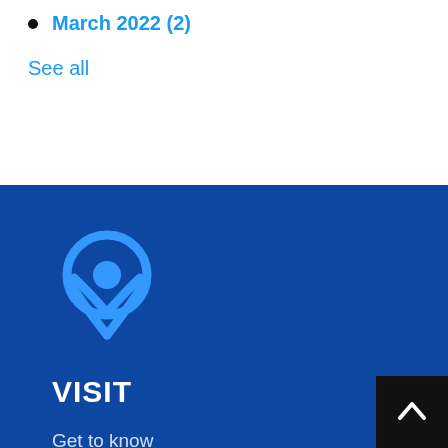March 2022 (2)
See all
[Figure (illustration): Location pin / map marker icon in blue outline style on dark blue background]
VISIT
Get to know the heart of Mount Paran Ch